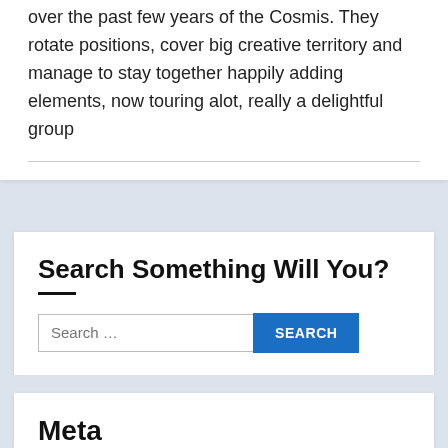over the past few years of the Cosmis. They rotate positions, cover big creative territory and manage to stay together happily adding elements, now touring alot, really a delightful group
Search Something Will You?
Search ...
Meta